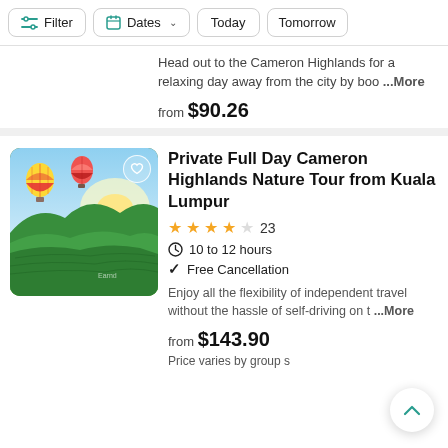Filter  Dates  Today  Tomorrow
Head out to the Cameron Highlands for a relaxing day away from the city by boo ...More
from $90.26
Private Full Day Cameron Highlands Nature Tour from Kuala Lumpur
★★★★☆ 23
10 to 12 hours
Free Cancellation
Enjoy all the flexibility of independent travel without the hassle of self-driving on t ...More
from $143.90
Price varies by group s